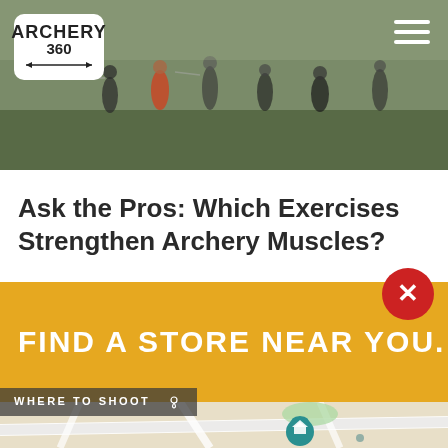[Figure (photo): Archery 360 website header showing people practicing archery on a field, foggy outdoor scene. Logo in top-left corner reading ARCHERY 360 with arrows graphic. Hamburger menu icon in top-right corner.]
Ask the Pros: Which Exercises Strengthen Archery Muscles?
[Figure (infographic): Yellow banner with text FIND A STORE NEAR YOU. and a red circle X close button in the top right. Below is a partial map showing streets and a teal map pin with a home icon.]
WHERE TO SHOOT